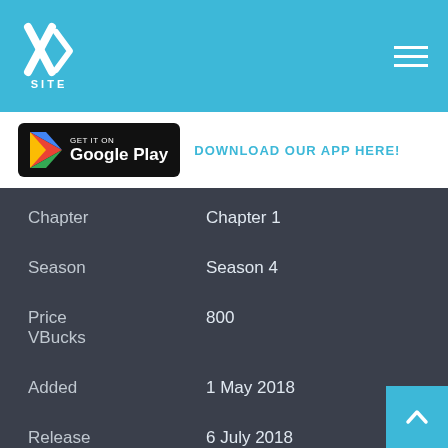XSITE
[Figure (logo): Google Play Store badge with triangle play icon]
DOWNLOAD OUR APP HERE!
| Field | Value |
| --- | --- |
| Chapter | Chapter 1 |
| Season | Season 4 |
| Price VBucks | 800 |
| Added | 1 May 2018 |
| Release Date | 6 July 2018 |